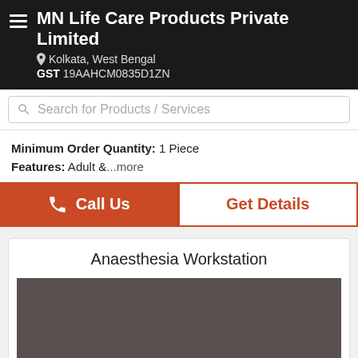MN Life Care Products Private Limited
Kolkata, West Bengal
GST 19AAHCM0835D1ZN
Search for Products / Services
Minimum Order Quantity: 1 Piece
Features: Adult &...more
Call Us
Get Details
Anaesthesia Workstation
[Figure (photo): Dark brownish-grey placeholder image for Anaesthesia Workstation product]